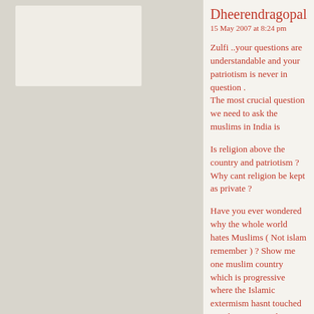Dheerendragopal
15 May 2007 at 8:24 pm
Zulfi ..your questions are understandable and your patriotism is never in question . The most crucial question we need to ask the muslims in India is
Is religion above the country and patriotism ? Why cant religion be kept as private ?
Have you ever wondered why the whole world hates Muslims ( Not islam remember ) ? Show me one muslim country which is progressive where the Islamic extermism hasnt touched ? Is there any working democracy without any past history of coup in Islamic republics ?